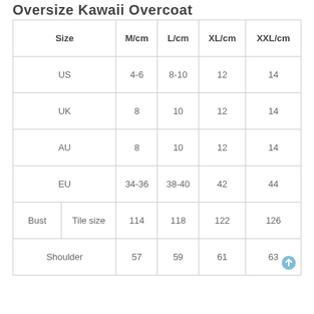Oversize Kawaii Overcoat
| Size | M/cm | L/cm | XL/cm | XXL/cm |
| --- | --- | --- | --- | --- |
| US | 4-6 | 8-10 | 12 | 14 |
| UK | 8 | 10 | 12 | 14 |
| AU | 8 | 10 | 12 | 14 |
| EU | 34-36 | 38-40 | 42 | 44 |
| Bust / Tile size | 114 | 118 | 122 | 126 |
| Shoulder | 57 | 59 | 61 | 63 |